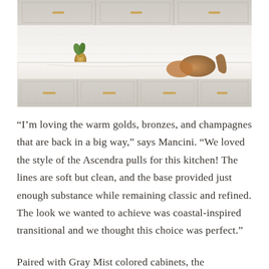[Figure (photo): Interior kitchen photo showing white/gray cabinets with gold/champagne hardware pulls, white marble-like countertops, a white subway tile backsplash, a gold vase with greenery, and wooden decorative objects on the counter.]
“I’m loving the warm golds, bronzes, and champagnes that are back in a big way,” says Mancini. “We loved the style of the Ascendra pulls for this kitchen! The lines are soft but clean, and the base provided just enough substance while remaining classic and refined. The look we wanted to achieve was coastal-inspired transitional and we thought this choice was perfect.”
Paired with Gray Mist colored cabinets, the